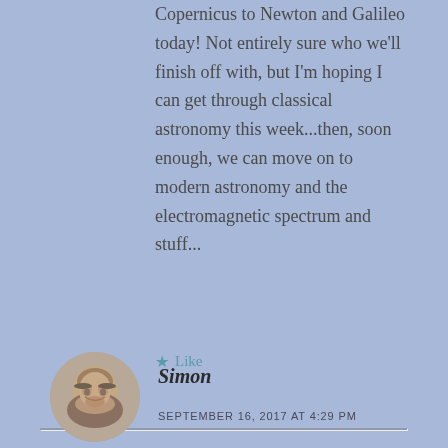Copernicus to Newton and Galileo today! Not entirely sure who we'll finish off with, but I'm hoping I can get through classical astronomy this week...then, soon enough, we can move on to modern astronomy and the electromagnetic spectrum and stuff...
★ Like
[Figure (photo): Circular avatar photo of a bald man with a beard]
Simon
SEPTEMBER 16, 2017 AT 4:29 PM